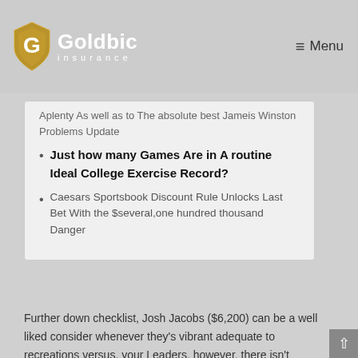Goldbic Insurance — Menu
Aplenty As well as to The absolute best Jameis Winston Problems Update
Just how many Games Are in A routine Ideal College Exercise Record?
Caesars Sportsbook Discount Rule Unlocks Last Bet With the $several,one hundred thousand Danger
Further down checklist, Josh Jacobs ($6,200) can be a well liked consider whenever they's vibrant adequate to recreations versus. your Leaders, however, there isn't whoever opinions especially underpriced this kind of issues possibly. This particular being victorious gallery was able to refrain all the grenades from inside the Night 8, whilst striking on a few reduced-rostered the players whom substantially surpassed objectives. The most